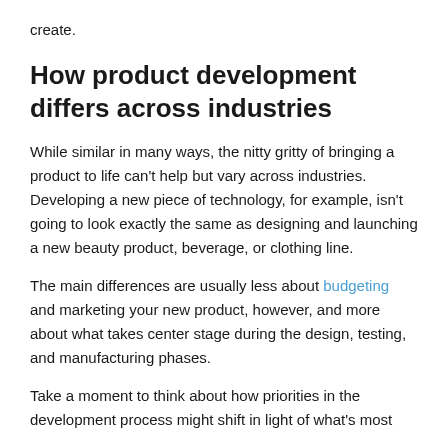create.
How product development differs across industries
While similar in many ways, the nitty gritty of bringing a product to life can't help but vary across industries. Developing a new piece of technology, for example, isn't going to look exactly the same as designing and launching a new beauty product, beverage, or clothing line.
The main differences are usually less about budgeting and marketing your new product, however, and more about what takes center stage during the design, testing, and manufacturing phases.
Take a moment to think about how priorities in the development process might shift in light of what's most